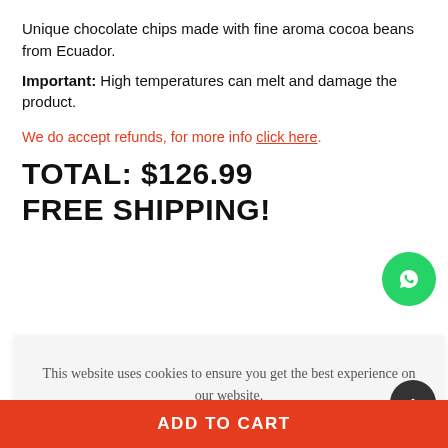Unique chocolate chips made with fine aroma cocoa beans from Ecuador.
Important: High temperatures can melt and damage the product.
We do accept refunds, for more info click here.
TOTAL: $126.99
FREE SHIPPING!
This website uses cookies to ensure you get the best experience on our website.
Got it!
ADD TO CART